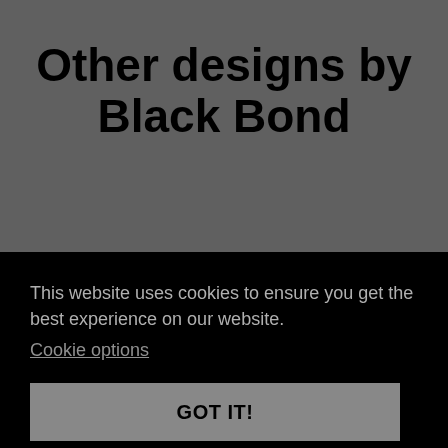Other designs by Black Bond
This website uses cookies to ensure you get the best experience on our website.
Cookie options
GOT IT!